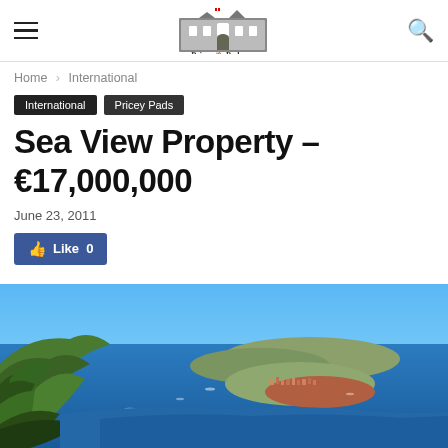PriceyPads.com — navigation header with hamburger menu and search icon
Home › International
International   Pricey Pads
Sea View Property – €17,000,000
June 23, 2011
Like 0
[Figure (photo): Aerial panoramic view of a Mediterranean coastal town on a peninsula surrounded by deep blue sea, with green hillside trees in the foreground and boats in the water]